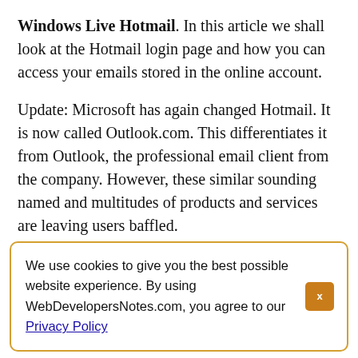Windows Live Hotmail. In this article we shall look at the Hotmail login page and how you can access your emails stored in the online account.
Update: Microsoft has again changed Hotmail. It is now called Outlook.com. This differentiates it from Outlook, the professional email client from the company. However, these similar sounding named and multitudes of products and services are leaving users baffled.
We use cookies to give you the best possible website experience. By using WebDevelopersNotes.com, you agree to our Privacy Policy